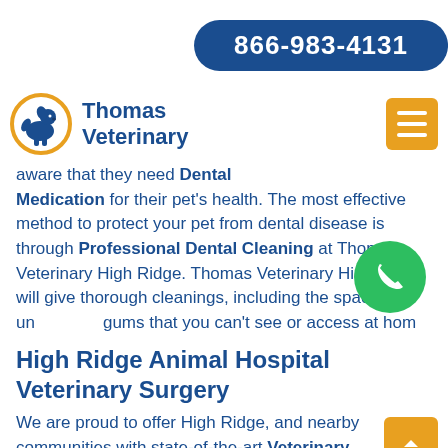866-983-4131
[Figure (logo): Thomas Veterinary logo with orange circle, dog silhouette, and blue text]
aware that they need Dental Medication for their pet's health. The most effective method to protect your pet from dental disease is through Professional Dental Cleaning at Thomas Veterinary High Ridge. Thomas Veterinary High Ridge will give thorough cleanings, including the space under gums that you can't see or access at home.
High Ridge Animal Hospital Veterinary Surgery
We are proud to offer High Ridge, and nearby communities with state-of-the-art Veterinary